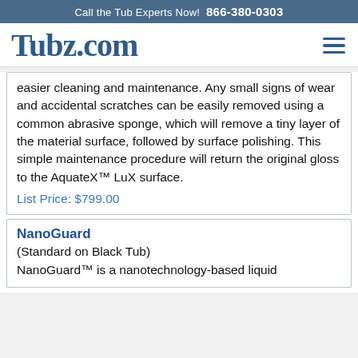Call the Tub Experts Now!  866-380-0303
[Figure (logo): Tubz.com logo in dark blue serif font, with hamburger menu icon on the right]
easier cleaning and maintenance. Any small signs of wear and accidental scratches can be easily removed using a common abrasive sponge, which will remove a tiny layer of the material surface, followed by surface polishing. This simple maintenance procedure will return the original gloss to the AquateX™ LuX surface.
List Price: $799.00
NanoGuard
(Standard on Black Tub)
NanoGuard™ is a nanotechnology-based liquid